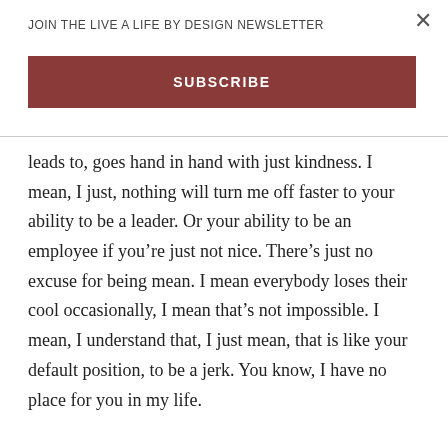JOIN THE LIVE A LIFE BY DESIGN NEWSLETTER
SUBSCRIBE
leads to, goes hand in hand with just kindness. I mean, I just, nothing will turn me off faster to your ability to be a leader. Or your ability to be an employee if you're just not nice. There's just no excuse for being mean. I mean everybody loses their cool occasionally, I mean that's not impossible. I mean, I understand that, I just mean, that is like your default position, to be a jerk. You know, I have no place for you in my life.
JW: You know, that is excellent advice, Mayor. I will